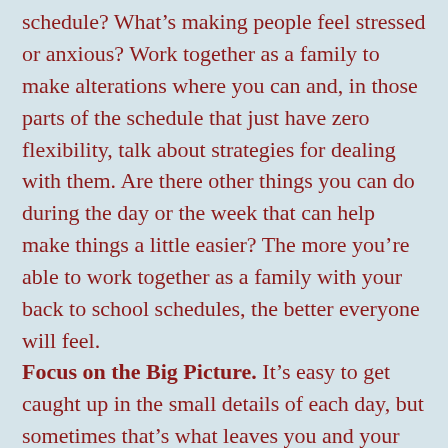schedule? What's making people feel stressed or anxious? Work together as a family to make alterations where you can and, in those parts of the schedule that just have zero flexibility, talk about strategies for dealing with them. Are there other things you can do during the day or the week that can help make things a little easier? The more you're able to work together as a family with your back to school schedules, the better everyone will feel.
Focus on the Big Picture. It's easy to get caught up in the small details of each day, but sometimes that's what leaves you and your